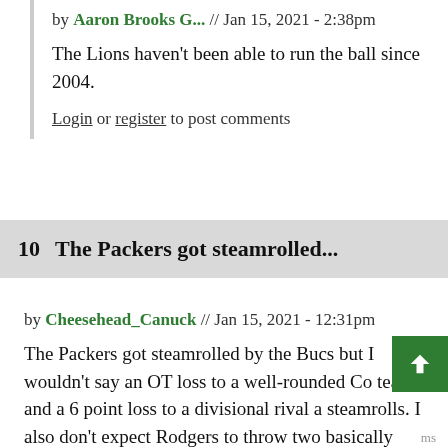by Aaron Brooks G... // Jan 15, 2021 - 2:38pm
The Lions haven't been able to run the ball since 2004.
Login or register to post comments
10  The Packers got steamrolled...
by Cheesehead_Canuck // Jan 15, 2021 - 12:31pm
The Packers got steamrolled by the Bucs but I wouldn't say an OT loss to a well-rounded Co team and a 6 point loss to a divisional rival a steamrolls. I also don't expect Rodgers to throw two basically pick-sixes when they meet the Bucs again in the NFCCG.